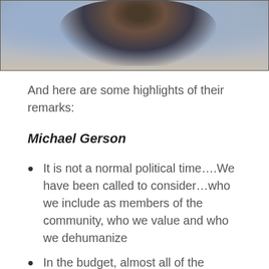[Figure (photo): A cropped photograph showing people, partially visible, with a blurred background.]
And here are some highlights of their remarks:
Michael Gerson
It is not a normal political time….We have been called to consider…who we include as members of the community, who we value and who we dehumanize
In the budget, almost all of the cutting is done at the expense of the